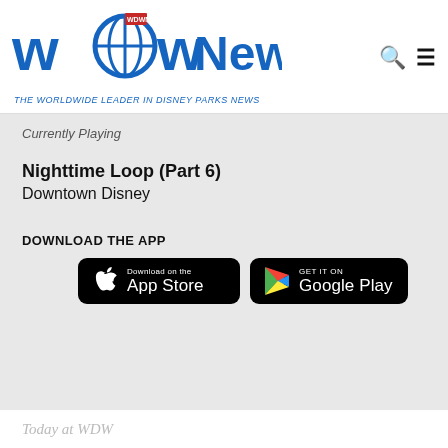[Figure (logo): WDW News Today logo with globe icon and red flag, blue stylized text, tagline 'THE WORLDWIDE LEADER IN DISNEY PARKS NEWS']
Currently Playing
Nighttime Loop (Part 6)
Downtown Disney
DOWNLOAD THE APP
[Figure (screenshot): Download on the App Store button (black rounded rectangle with Apple logo)]
[Figure (screenshot): GET IT ON Google Play button (black rounded rectangle with Google Play triangle logo)]
Today at WDW